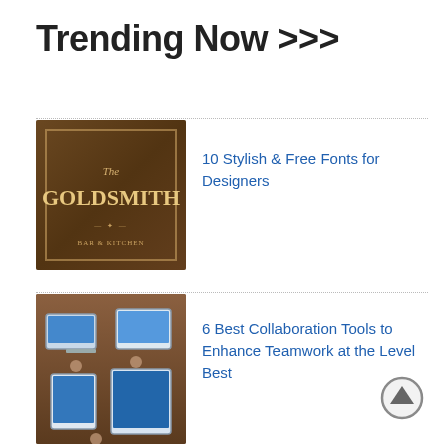Trending Now >>>
[Figure (photo): Vintage 'The Goldsmith' signage with decorative typography on a dark background]
10 Stylish & Free Fonts for Designers
[Figure (photo): Overhead view of people collaborating around laptops and tablets on a wooden table]
6 Best Collaboration Tools to Enhance Teamwork at the Level Best
[Figure (photo): Modern office workspace with clean white furniture, large windows, and a TV screen on the wall]
How to Revolutionary Organize Your Workspace to Improve Productivity